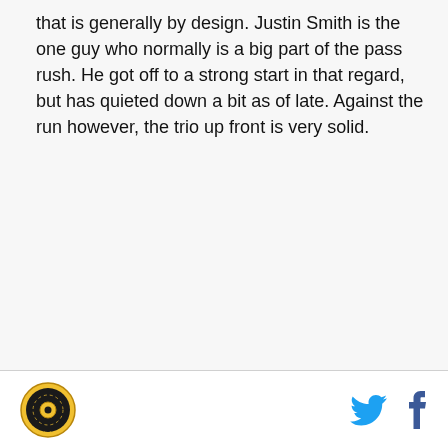that is generally by design. Justin Smith is the one guy who normally is a big part of the pass rush. He got off to a strong start in that regard, but has quieted down a bit as of late. Against the run however, the trio up front is very solid.
[logo] [twitter icon] [facebook icon]